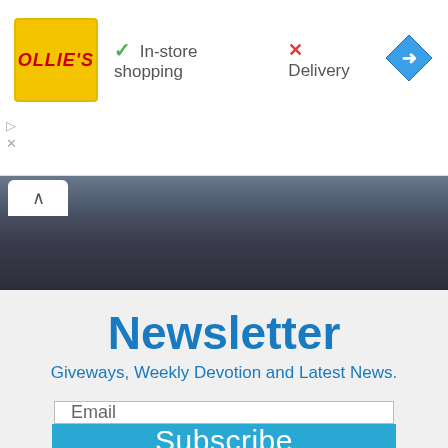[Figure (logo): Ollie's store logo on yellow background with red italic text, alongside green checkmark 'In-store shopping', red X 'Delivery', and blue navigation diamond icon]
[Figure (photo): Background image showing a dark sky panorama — advertisement header image strip]
Newsletter
Giveways, Weekly Devotion and Latest News.
Email
Subscribe